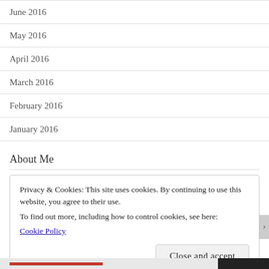June 2016
May 2016
April 2016
March 2016
February 2016
January 2016
About Me
Privacy & Cookies: This site uses cookies. By continuing to use this website, you agree to their use.
To find out more, including how to control cookies, see here:
Cookie Policy
Close and accept